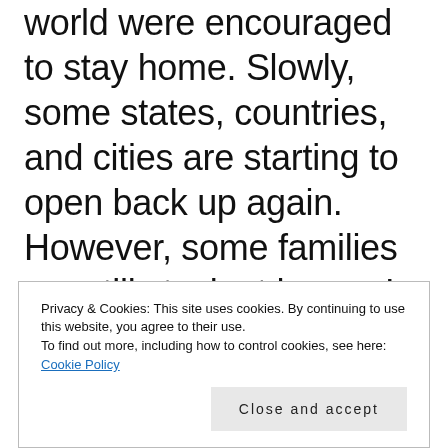world were encouraged to stay home. Slowly, some states, countries, and cities are starting to open back up again. However, some families are still stuck at home. I know that over the last several weeks, I have watched my children react differently to our “new normal.” Here are some mental health tips for children stuck at home.
Privacy & Cookies: This site uses cookies. By continuing to use this website, you agree to their use. To find out more, including how to control cookies, see here: Cookie Policy
Close and accept